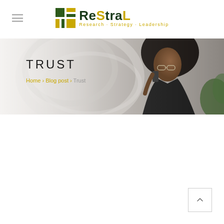ReStral - Research · Strategy · Leadership
[Figure (logo): ReStral logo with square grid icon in green and yellow, text 'ReStral' in dark green, tagline 'Research · Strategy · Leadership' in yellow/gold]
TRUST
Home › Blog post › Trust
[Figure (photo): Hero banner image of a Black woman with natural hair, wearing glasses and a dark blazer, talking on a phone, with a blurred light background]